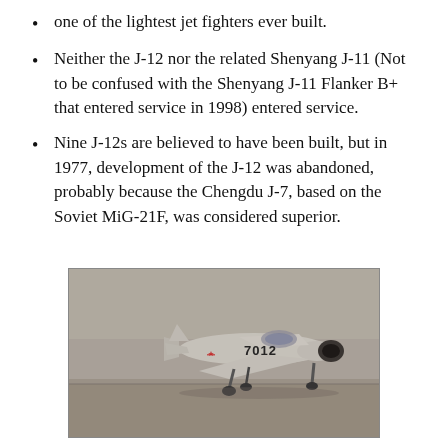one of the lightest jet fighters ever built.
Neither the J-12 nor the related Shenyang J-11 (Not to be confused with the Shenyang J-11 Flanker B+ that entered service in 1998) entered service.
Nine J-12s are believed to have been built, but in 1977, development of the J-12 was abandoned, probably because the Chengdu J-7, based on the Soviet MiG-21F, was considered superior.
[Figure (photo): Black and white photograph of a Chinese J-12 jet fighter aircraft numbered 7012 on a runway, viewed from the front-left angle showing its swept wings and landing gear.]